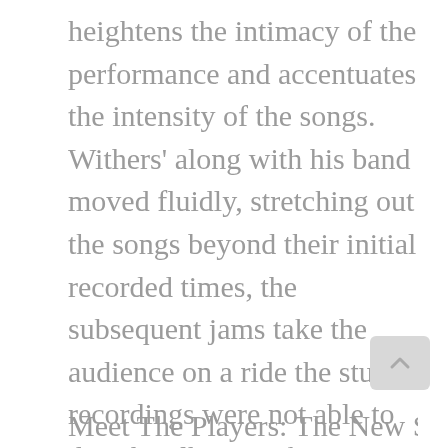heightens the intimacy of the performance and accentuates the intensity of the songs. Withers' along with his band moved fluidly, stretching out the songs beyond their initial recorded times, the subsequent jams take the audience on a ride the studio recordings were not able to do. The album ranks at number 27 on Rolling Stones' list of the 50 Greatest Live Albums of All Time. Live At Carnegie Hall stands as one of the greatest live recordings of all time. and The New Stew is delighted to re-imagine this time-honored performance.
Meet The Players: The New Stew